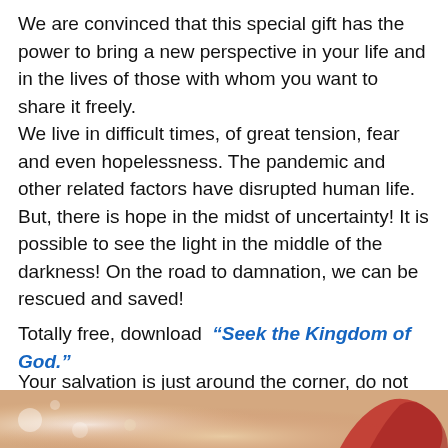We are convinced that this special gift has the power to bring a new perspective in your life and in the lives of those with whom you want to share it freely.
We live in difficult times, of great tension, fear and even hopelessness. The pandemic and other related factors have disrupted human life. But, there is hope in the midst of uncertainty! It is possible to see the light in the middle of the darkness! On the road to damnation, we can be rescued and saved!
Totally free, download “Seek the Kingdom of God.”
Your salvation is just around the corner, do not waste this opportunity! Don’t waste this special treat!
[Figure (photo): Partial photo at bottom of page showing warm tones with bokeh lights and what appears to be a red ribbon or heart shape]